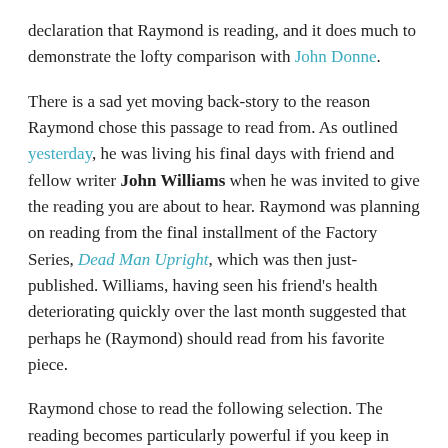declaration that Raymond is reading, and it does much to demonstrate the lofty comparison with John Donne.
There is a sad yet moving back-story to the reason Raymond chose this passage to read from. As outlined yesterday, he was living his final days with friend and fellow writer John Williams when he was invited to give the reading you are about to hear. Raymond was planning on reading from the final installment of the Factory Series, Dead Man Upright, which was then just-published. Williams, having seen his friend's health deteriorating quickly over the last month suggested that perhaps he (Raymond) should read from his favorite piece.
Raymond chose to read the following selection. The reading becomes particularly powerful if you keep in mind that the author knew his own end was near. Once again, the piece is introduced by Cathi Unsworth.